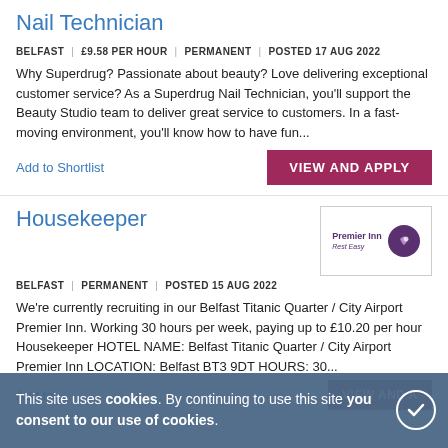Nail Technician
BELFAST | £9.58 PER HOUR | PERMANENT | POSTED 17 AUG 2022
Why Superdrug? Passionate about beauty? Love delivering exceptional customer service? As a Superdrug Nail Technician, you'll support the Beauty Studio team to deliver great service to customers. In a fast-moving environment, you'll know how to have fun...
Add to Shortlist
VIEW AND APPLY
Housekeeper
[Figure (logo): Premier Inn logo - purple text with moon icon]
BELFAST | PERMANENT | POSTED 15 AUG 2022
We're currently recruiting in our Belfast Titanic Quarter / City Airport Premier Inn. Working 30 hours per week, paying up to £10.20 per hour Housekeeper HOTEL NAME: Belfast Titanic Quarter / City Airport Premier Inn LOCATION: Belfast BT3 9DT HOURS: 30...
Add to
VIEW AND A
This site uses cookies. By continuing to use this site you consent to our use of cookies.